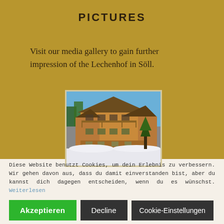PICTURES
Visit our media gallery to gain further impression of the Lechenhof in Söll.
[Figure (photo): Exterior photo of the Lechenhof in Söll, a wooden Alpine chalet/hotel building in winter with snow on the ground and a blue sky background.]
Diese Website benutzt Cookies, um dein Erlebnis zu verbessern. Wir gehen davon aus, dass du damit einverstanden bist, aber du kannst dich dagegen entscheiden, wenn du es wünschst. Weiterlesen
Akzeptieren
Decline
Cookie-Einstellungen